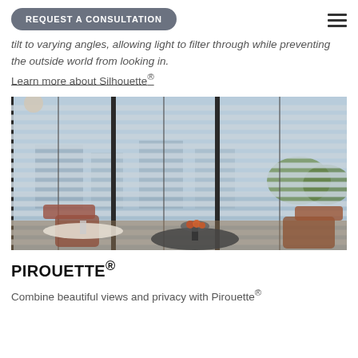REQUEST A CONSULTATION
tilt to varying angles, allowing light to filter through while preventing the outside world from looking in.
Learn more about Silhouette®
[Figure (photo): Interior room with horizontal blinds/shades on large windows, a round table with fruit bowl, chairs, and an outdoor cityscape view visible through the blinds.]
PIROUETTE®
Combine beautiful views and privacy with Pirouette®